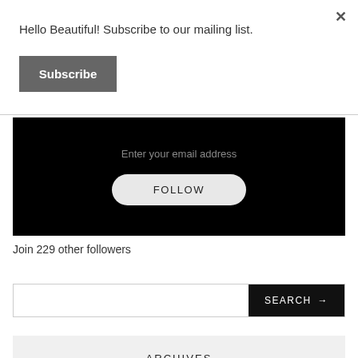Hello Beautiful! Subscribe to our mailing list.
Subscribe
[Figure (screenshot): Black box with email input placeholder 'Enter your email address' and a rounded FOLLOW button]
Join 229 other followers
SEARCH →
ARCHIVES